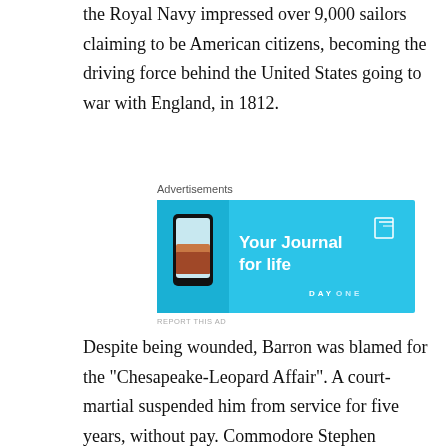the Royal Navy impressed over 9,000 sailors claiming to be American citizens, becoming the driving force behind the United States going to war with England, in 1812.
[Figure (other): Advertisement banner for DayOne journal app with blue background, phone image, and text 'Your Journal for life']
Despite being wounded, Barron was blamed for the "Chesapeake-Leopard Affair". A court-martial suspended him from service for five years, without pay. Commodore Stephen Decatur was one of the presiding officers at the court-martial. In 1820, Barron challenged Decatur to a duel, killing his fellow Commodore over comments concerning the 1807 incident.
Undergoing a refit in Boston Harbor in 1813, USS Chesapeake